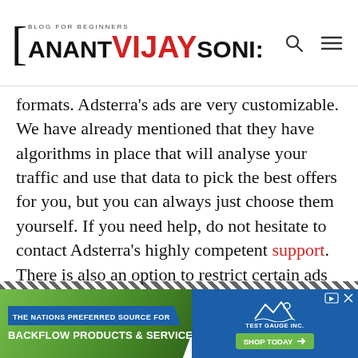[BLOG FOR BEGINNERS ANANT VIJAY SONI:
formats. Adsterra’s ads are very customizable. We have already mentioned that they have algorithms in place that will analyse your traffic and use that data to pick the best offers for you, but you can always just choose them yourself. If you need help, do not hesitate to contact Adsterra’s highly competent support. There is also an option to restrict certain ads if you feel like they don’t fit your platform at all. You don’t have to worry about inappropriate ads: Adsterra’s multi-stage system will exclude them for you.
[Figure (screenshot): Advertisement banner: The Nations Preferred Source For Backflow Products & Services with Test Gauge Inc. logo and Shop Today button]